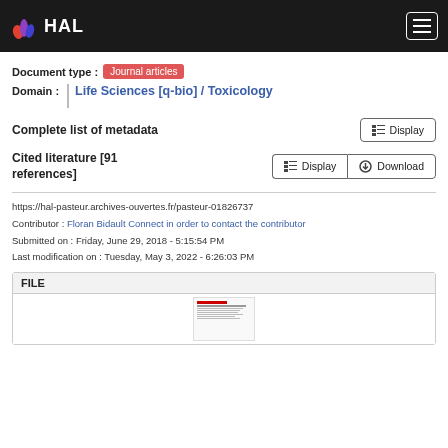HAL
Document type : Journal articles
Domain : Life Sciences [q-bio] / Toxicology
Complete list of metadata
Cited literature [91 references]
https://hal-pasteur.archives-ouvertes.fr/pasteur-01826737
Contributor : Floran Bidault Connect in order to contact the contributor
Submitted on : Friday, June 29, 2018 - 5:15:54 PM
Last modification on : Tuesday, May 3, 2022 - 6:26:03 PM
FILE
[Figure (other): Thumbnail of a journal article file]